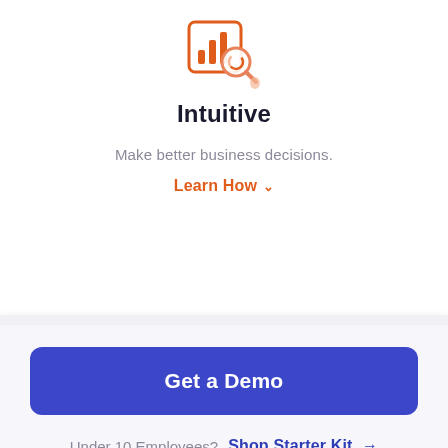[Figure (illustration): Orange analytics/chart icon with a magnifying glass overlay, shown in orange line art style]
Intuitive
Make better business decisions.
Learn How ∨
Get a Demo
Under 10 Employees?  Shop Starter Kit →